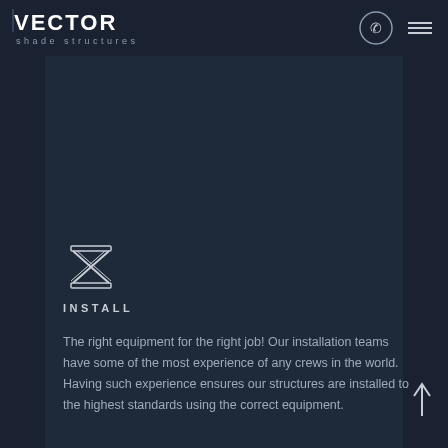[Figure (logo): Vector Shade Structures logo — white bold text 'VECTOR' with 'shade structures' below in lighter smaller text]
[Figure (illustration): Phone icon in a circle and a hamburger menu icon in the top right of the header]
[Figure (illustration): Abstract geometric X/cross icon made of structural beams representing installation]
INSTALL
The right equipment for the right job! Our installation teams have some of the most experience of any crews in the world. Having such experience ensures our structures are installed to the highest standards using the correct equipment.